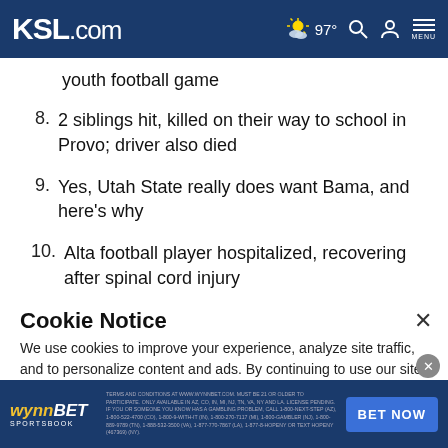KSL.com | 97° | Search | Account | Menu
youth football game
8. 2 siblings hit, killed on their way to school in Provo; driver also died
9. Yes, Utah State really does want Bama, and here's why
10. Alta football player hospitalized, recovering after spinal cord injury
Cookie Notice
We use cookies to improve your experience, analyze site traffic, and to personalize content and ads. By continuing to use our site, you consent to our use of cookies. Please visit our Terms of Use and Privacy Policy for more information
wynnBET SPORTSBOOK - TERMS AND CONDITIONS AT WWW.WYNNBET.COM. MUST BE 21 OR OLDER TO PARTICIPATE. ONLY AVAILABLE IN AZ, CO, IN, MI, NJ, TN, VA, NY AND LA. BET NOW